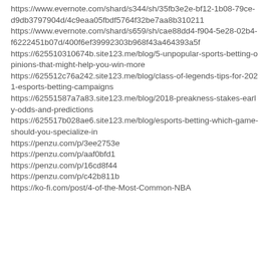https://www.evernote.com/shard/s344/sh/35fb3e2e-bf12-1b08-79ce-d9db3797904d/4c9eaa05fbdf5764f32be7aa8b310211
https://www.evernote.com/shard/s659/sh/cae88dd4-f904-5e28-02b4-f6222451b07d/400f6ef39992303b968f43a464393a5f
https://625510310674b.site123.me/blog/5-unpopular-sports-betting-opinions-that-might-help-you-win-more
https://625512c76a242.site123.me/blog/class-of-legends-tips-for-2021-esports-betting-campaigns
https://62551587a7a83.site123.me/blog/2018-preakness-stakes-early-odds-and-predictions
https://625517b028ae6.site123.me/blog/esports-betting-which-game-should-you-specialize-in
https://penzu.com/p/3ee2753e
https://penzu.com/p/aaf0bfd1
https://penzu.com/p/16cd8f44
https://penzu.com/p/c42b811b
https://ko-fi.com/post/4-of-the-Most-Common-NBA…